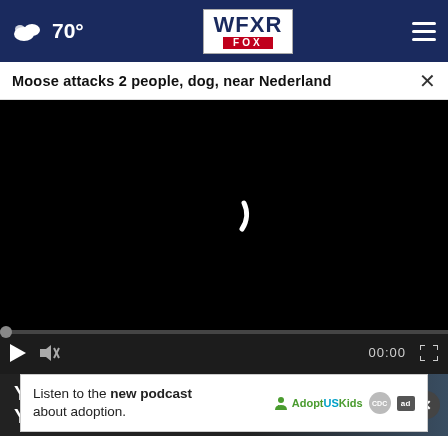[Figure (screenshot): WFXR Fox news website navigation bar with weather icon showing 70 degrees, WFXR FOX logo in center, and hamburger menu on right]
Moose attacks 2 people, dog, near Nederland
[Figure (screenshot): Black video player with loading spinner and video controls showing play button, mute icon, 00:00 timestamp, and fullscreen button]
[Figure (screenshot): Promotional banner: YOUR PARKS YOUR ADVENTURE with close X button]
Listen to the new podcast about adoption.
[Figure (logo): Adopt US Kids logo and ad badge]